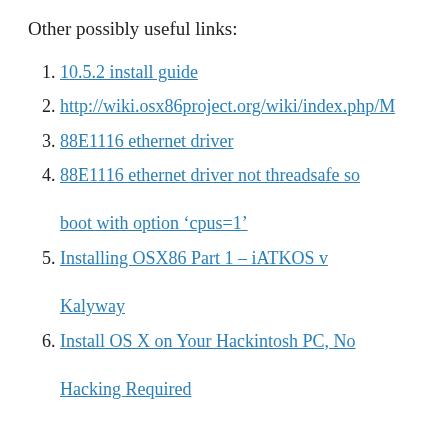Other possibly useful links:
10.5.2 install guide
http://wiki.osx86project.org/wiki/index.php/M
88E1116 ethernet driver
88E1116 ethernet driver not threadsafe so boot with option ‘cpus=1’
Installing OSX86 Part 1 – iATKOS v Kalyway
Install OS X on Your Hackintosh PC, No Hacking Required